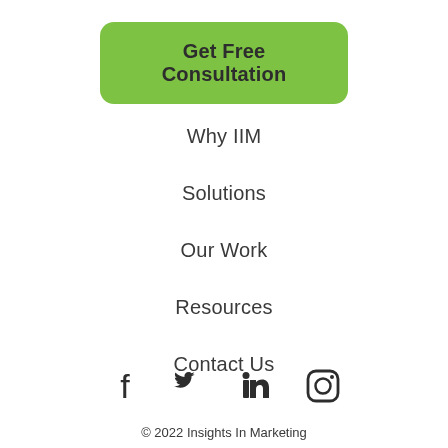Get Free Consultation
Why IIM
Solutions
Our Work
Resources
Contact Us
[Figure (infographic): Social media icons: Facebook, Twitter, LinkedIn, Instagram]
© 2022 Insights In Marketing